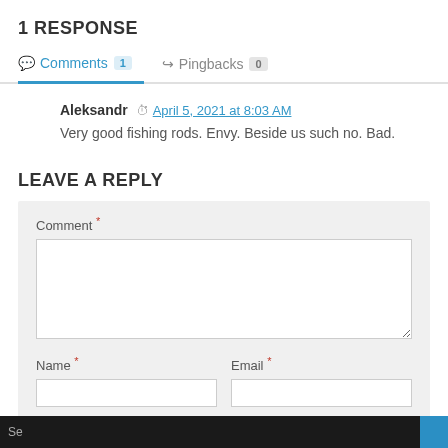1 RESPONSE
Comments 1   Pingbacks 0
Aleksandr  April 5, 2021 at 8:03 AM
Very good fishing rods. Envy. Beside us such no. Bad.
LEAVE A REPLY
Comment *
Name *   Email *